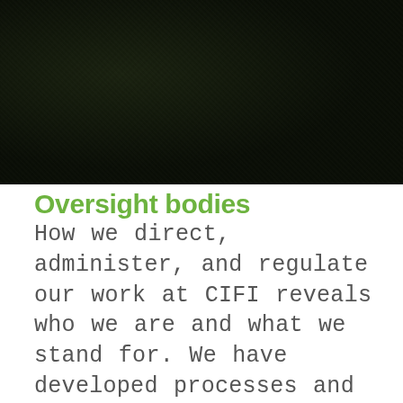[Figure (photo): Dark background photograph showing dense foliage or forest, very dark tones in dark green and black]
Oversight bodies
How we direct, administer, and regulate our work at CIFI reveals who we are and what we stand for. We have developed processes and policies to meet our